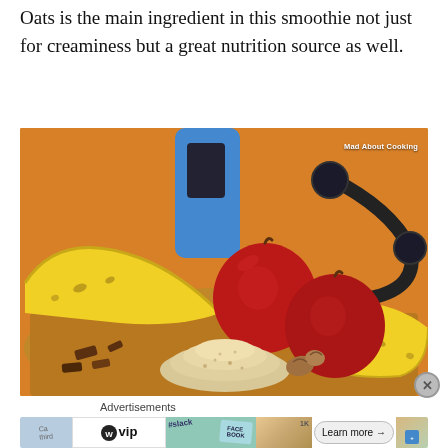Oats is the main ingredient in this smoothie not just for creaminess but a great nutrition source as well.
[Figure (photo): Photograph of smoothie ingredients on a wooden cutting board: bananas, two red apples, a pile of oats, chocolate pieces, walnuts, and a blue blender bottle in the background. Watermark reads 'Mad About Cooking'.]
Advertisements
[Figure (other): Advertisement banner showing WordPress VIP logo, Slack logo with cards, FACEBOOK text, and a 'Learn more →' button]